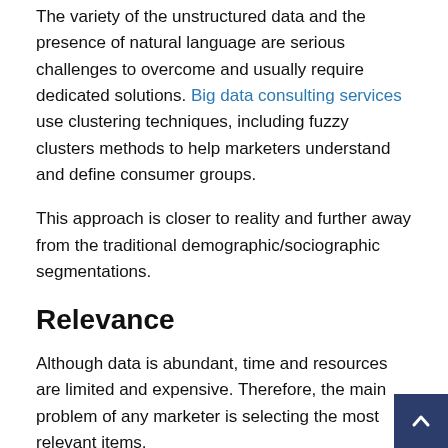The variety of the unstructured data and the presence of natural language are serious challenges to overcome and usually require dedicated solutions. Big data consulting services use clustering techniques, including fuzzy clusters methods to help marketers understand and define consumer groups.
This approach is closer to reality and further away from the traditional demographic/sociographic segmentations.
Relevance
Although data is abundant, time and resources are limited and expensive. Therefore, the main problem of any marketer is selecting the most relevant items.
Business strategy should be the driving force behind the collection process. The marketing department should first define KPIs and attach proper measures to these to harness the power of big data.